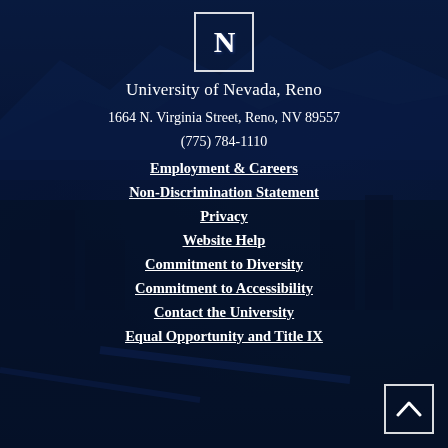[Figure (logo): University of Nevada, Reno N logo in white box on dark blue background]
University of Nevada, Reno
1664 N. Virginia Street, Reno, NV 89557
(775) 784-1110
Employment & Careers
Non-Discrimination Statement
Privacy
Website Help
Commitment to Diversity
Commitment to Accessibility
Contact the University
Equal Opportunity and Title IX
[Figure (other): Back to top button with upward chevron arrow in bottom right corner]